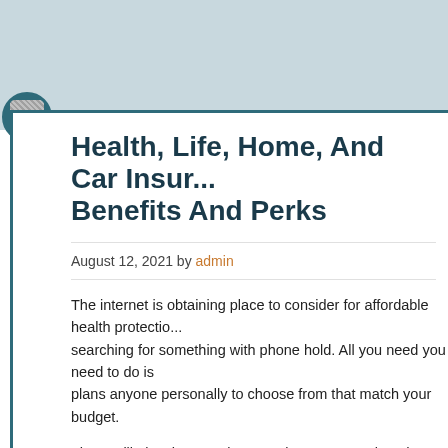Health, Life, Home, And Car Insurance Benefits And Perks
August 12, 2021 by admin
The internet is obtaining place to consider for affordable health protection searching for something with phone hold. All you need you need to do is plans anyone personally to choose from that match your budget.
There will also the you also must be are unemployed or the particular the healthcare for his or family and wish individual Health Insurance. Again in order to an insurance vendor that touches on you with an affordable p
If an individual might be healthy a lot of to do anything, however in case